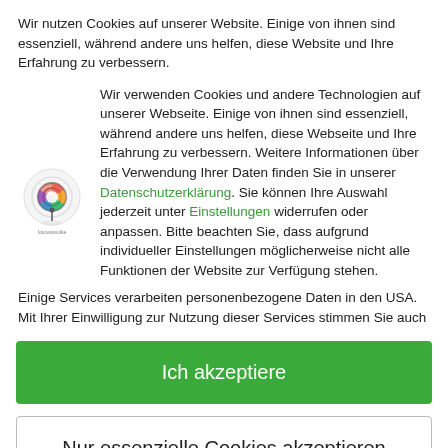Wir nutzen Cookies auf unserer Website. Einige von ihnen sind essenziell, während andere uns helfen, diese Website und Ihre Erfahrung zu verbessern.
Wir verwenden Cookies und andere Technologien auf unserer Webseite. Einige von ihnen sind essenziell, während andere uns helfen, diese Webseite und Ihre Erfahrung zu verbessern. Weitere Informationen über die Verwendung Ihrer Daten finden Sie in unserer Datenschutzerklärung. Sie können Ihre Auswahl jederzeit unter Einstellungen widerrufen oder anpassen. Bitte beachten Sie, dass aufgrund individueller Einstellungen möglicherweise nicht alle Funktionen der Website zur Verfügung stehen.
Einige Services verarbeiten personenbezogene Daten in den USA. Mit Ihrer Einwilligung zur Nutzung dieser Services stimmen Sie auch
Ich akzeptiere
Nur essenzielle Cookies akzeptieren
Individuelle Datenschutzeinstellungen